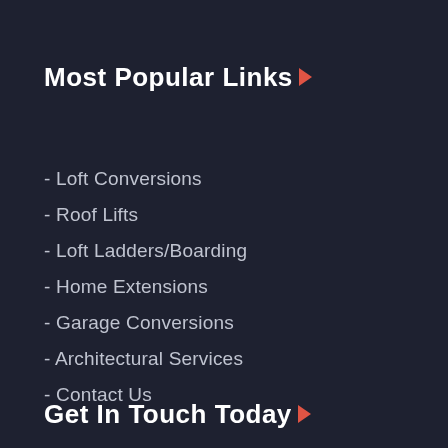Most Popular Links
- Loft Conversions
- Roof Lifts
- Loft Ladders/Boarding
- Home Extensions
- Garage Conversions
- Architectural Services
- Contact Us
Get In Touch Today